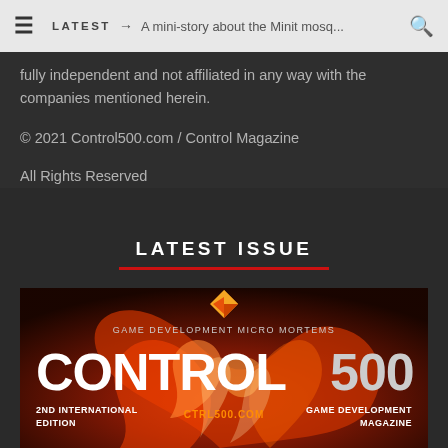≡  LATEST → A mini-story about the Minit mosq...  🔍
fully independent and not affiliated in any way with the companies mentioned herein.
© 2021 Control500.com / Control Magazine
All Rights Reserved
LATEST ISSUE
[Figure (illustration): Control500 magazine cover showing GAME DEVELOPMENT MICRO MORTEMS title, CONTROL500 logo in large white letters, 2ND INTERNATIONAL EDITION label on left, CTRL500.COM in orange center, GAME DEVELOPMENT MAGAZINE on right, geometric orange/yellow diamond logo at top, fiery red swirl background artwork]